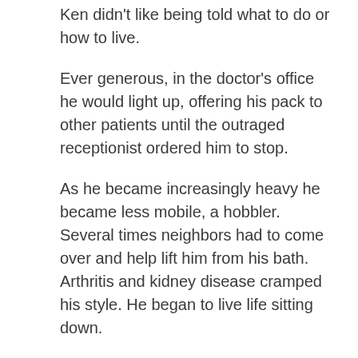Ken didn't like being told what to do or how to live.
Ever generous, in the doctor's office he would light up, offering his pack to other patients until the outraged receptionist ordered him to stop.
As he became increasingly heavy he became less mobile, a hobbler. Several times neighbors had to come over and help lift him from his bath. Arthritis and kidney disease cramped his style. He began to live life sitting down.
One Saturday morning around 8 AM when we were still in bed we heard a car pull to a noisy stop on the gravel. A loud horn sounded impatiently. It was Ken in his newest new Mercedes.
I came down in my pajamas. He didn't open the door,